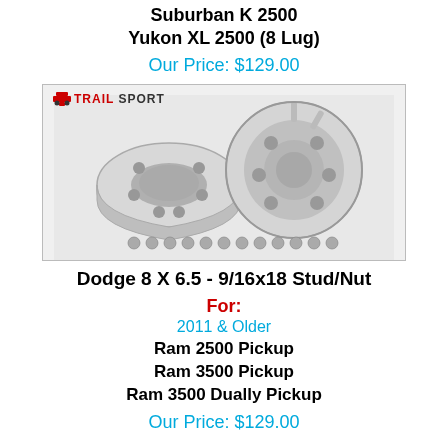Suburban K 2500
Yukon XL 2500 (8 Lug)
Our Price: $129.00
[Figure (photo): Photo of Trail Sport wheel spacers — two round aluminum spacers with lug holes and a set of lug nuts shown in front, against white background. Trail Sport logo top-left of image.]
Dodge 8 X 6.5 - 9/16x18 Stud/Nut
For:
2011 & Older
Ram 2500 Pickup
Ram 3500 Pickup
Ram 3500 Dually Pickup
Our Price: $129.00